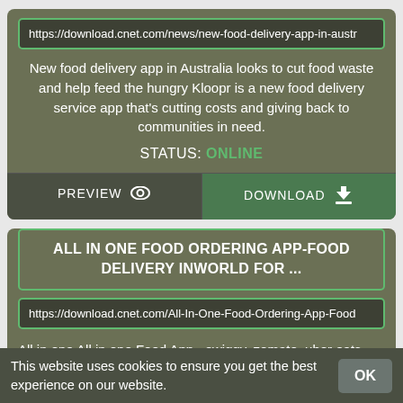https://download.cnet.com/news/new-food-delivery-app-in-austr
New food delivery app in Australia looks to cut food waste and help feed the hungry Kloopr is a new food delivery service app that's cutting costs and giving back to communities in need.
STATUS: ONLINE
PREVIEW  DOWNLOAD
ALL IN ONE FOOD ORDERING APP-FOOD DELIVERY INWORLD FOR ...
https://download.cnet.com/All-In-One-Food-Ordering-App-Food
All in one All in one Food App - swiggy, zomato, uber eats, kfc, grubhub, eat24, frsh, domino, doordash, dabbagul, foodcloud, bahroup, deliveroo, burgerking
This website uses cookies to ensure you get the best experience on our website.